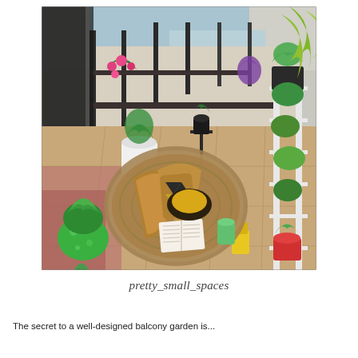[Figure (photo): A balcony garden with colorful potted plants hanging from railings on the left side, a white metal plant stand on the right filled with green plants, a round jute rug in the center with decorative cushions, an open book, and a green cup. The floor is beige ceramic tile.]
pretty_small_spaces
The secret to a well-designed balcony garden is...